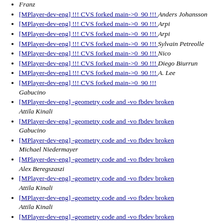Franz
[MPlayer-dev-eng] !!! CVS forked main->0_90 !!!  Anders Johansson
[MPlayer-dev-eng] !!! CVS forked main->0_90 !!!  Arpi
[MPlayer-dev-eng] !!! CVS forked main->0_90 !!!  Arpi
[MPlayer-dev-eng] !!! CVS forked main->0_90 !!!  Sylvain Petreolle
[MPlayer-dev-eng] !!! CVS forked main->0_90 !!!  Nico
[MPlayer-dev-eng] !!! CVS forked main->0_90 !!!  Diego Biurrun
[MPlayer-dev-eng] !!! CVS forked main->0_90 !!!  A. Lee
[MPlayer-dev-eng] !!! CVS forked main->0_90 !!!  Gabucino
[MPlayer-dev-eng] -geometry code and -vo fbdev broken  Attila Kinali
[MPlayer-dev-eng] -geometry code and -vo fbdev broken  Gabucino
[MPlayer-dev-eng] -geometry code and -vo fbdev broken  Michael Niedermayer
[MPlayer-dev-eng] -geometry code and -vo fbdev broken  Alex Beregszaszi
[MPlayer-dev-eng] -geometry code and -vo fbdev broken  Attila Kinali
[MPlayer-dev-eng] -geometry code and -vo fbdev broken  Attila Kinali
[MPlayer-dev-eng] -geometry code and -vo fbdev broken